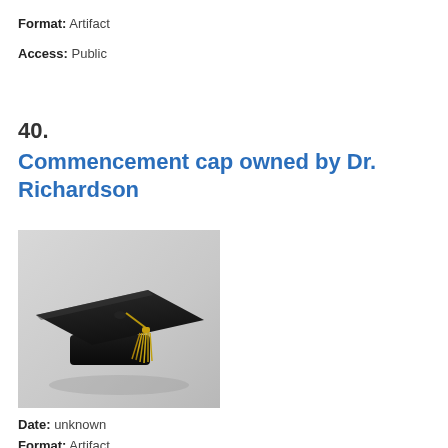Format: Artifact
Access: Public
40.
Commencement cap owned by Dr. Richardson
[Figure (photo): A black mortarboard (graduation cap) with a gold tassel, photographed on a light grey background.]
Date: unknown
Format: Artifact